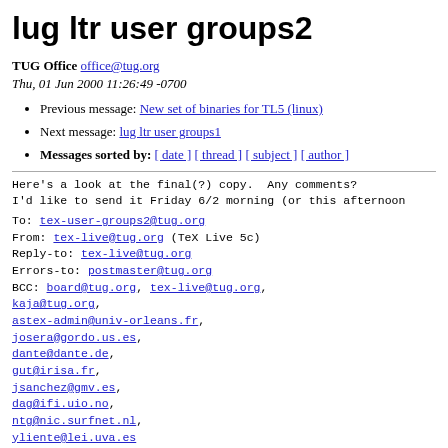lug ltr user groups2
TUG Office office@tug.org
Thu, 01 Jun 2000 11:26:49 -0700
Previous message: New set of binaries for TL5 (linux)
Next message: lug ltr user groups1
Messages sorted by: [ date ] [ thread ] [ subject ] [ author ]
Here's a look at the final(?) copy.  Any comments?
I'd like to send it Friday 6/2 morning (or this afternoon
To: tex-user-groups2@tug.org
From: tex-live@tug.org (TeX Live 5c)
Reply-to: tex-live@tug.org
Errors-to: postmaster@tug.org
BCC: board@tug.org, tex-live@tug.org,
kaja@tug.org,
astex-admin@univ-orleans.fr,
josera@gordo.us.es,
dante@dante.de,
gut@irisa.fr,
jsanchez@gmv.es,
dag@ifi.uio.no,
ntg@nic.surfnet.nl,
yliente@lei.uva.es